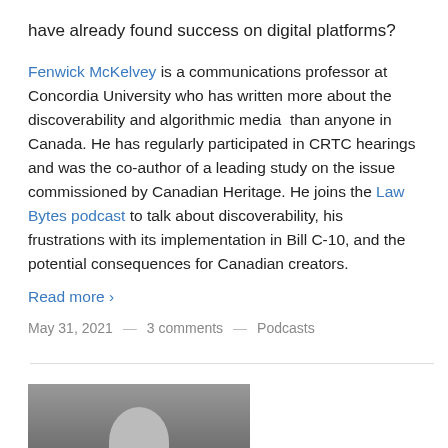have already found success on digital platforms?
Fenwick McKelvey is a communications professor at Concordia University who has written more about the discoverability and algorithmic media  than anyone in Canada. He has regularly participated in CRTC hearings and was the co-author of a leading study on the issue commissioned by Canadian Heritage. He joins the Law Bytes podcast to talk about discoverability, his frustrations with its implementation in Bill C-10, and the potential consequences for Canadian creators.
Read more ›
May 31, 2021 — 3 comments — Podcasts
[Figure (photo): Partial photo of a person, cropped at bottom of page, showing top of head/face against a grey background]